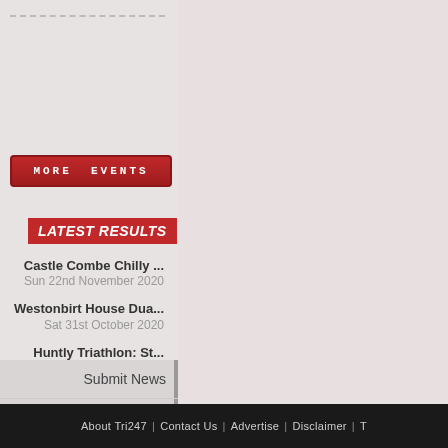[Figure (other): More Events button - red rounded rectangle with white uppercase text]
LATEST RESULTS
Castle Combe Chilly ...
Sun 22nd November 2020
Westonbirt House Dua...
Sat 31st October 2020
Huntly Triathlon: St...
Sun 20th September 2020
Huntly Triathlon: St...
Sun 20th September 2020
Brecon Bach Standard...
Sat 19th September 2020
Submit News
Submit Event
About Tri247 | Contact Us | Advertise | Disclaimer | T